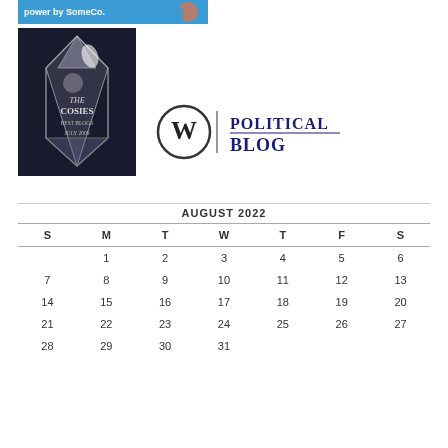[Figure (illustration): Top banner with text 'power by SomeCo.' and cartoon illustration on blue background]
[Figure (photo): Glass crystal award trophy engraved with 'THE COSIES BEST BLOGS JULY 2009']
[Figure (logo): WordPress circle logo (W) next to text 'Political Blog' in dark blue serif font]
| S | M | T | W | T | F | S |
| --- | --- | --- | --- | --- | --- | --- |
|  | 1 | 2 | 3 | 4 | 5 | 6 |
| 7 | 8 | 9 | 10 | 11 | 12 | 13 |
| 14 | 15 | 16 | 17 | 18 | 19 | 20 |
| 21 | 22 | 23 | 24 | 25 | 26 | 27 |
| 28 | 29 | 30 | 31 |  |  |  |